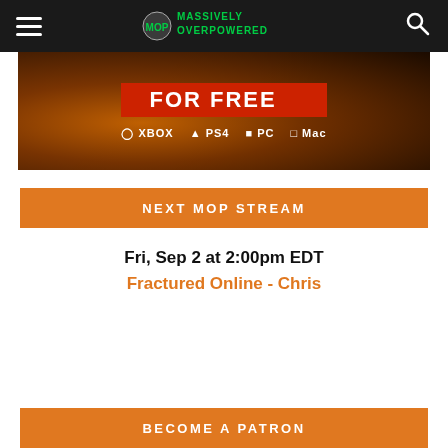Massively Overpowered
[Figure (screenshot): Advertisement banner showing a game with 'FOR FREE' text in red box and platform icons: XBOX, PS4, PC, Mac]
NEXT MOP STREAM
Fri, Sep 2 at 2:00pm EDT
Fractured Online - Chris
BECOME A PATRON